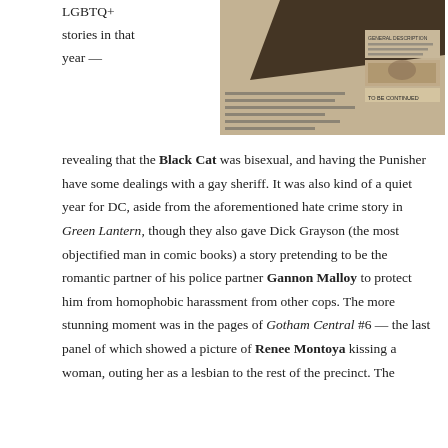LGBTQ+ stories in that year —
[Figure (photo): Black and white comic book panel or newspaper clipping showing a character wanted poster or police document, partially obscured by a dark diagonal shape]
revealing that the Black Cat was bisexual, and having the Punisher have some dealings with a gay sheriff. It was also kind of a quiet year for DC, aside from the aforementioned hate crime story in Green Lantern, though they also gave Dick Grayson (the most objectified man in comic books) a story pretending to be the romantic partner of his police partner Gannon Malloy to protect him from homophobic harassment from other cops. The more stunning moment was in the pages of Gotham Central #6 — the last panel of which showed a picture of Renee Montoya kissing a woman, outing her as a lesbian to the rest of the precinct. The